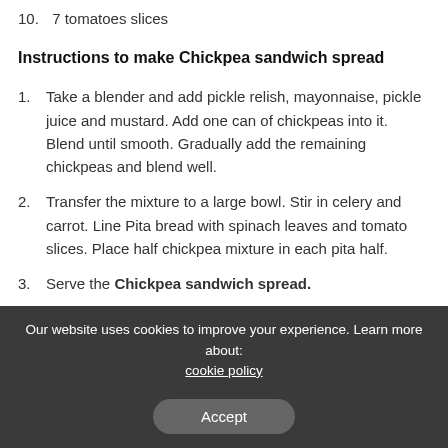10. 7 tomatoes slices
Instructions to make Chickpea sandwich spread
1. Take a blender and add pickle relish, mayonnaise, pickle juice and mustard. Add one can of chickpeas into it. Blend until smooth. Gradually add the remaining chickpeas and blend well.
2. Transfer the mixture to a large bowl. Stir in celery and carrot. Line Pita bread with spinach leaves and tomato slices. Place half chickpea mixture in each pita half.
3. Serve the Chickpea sandwich spread.
Our website uses cookies to improve your experience. Learn more about: cookie policy  Accept